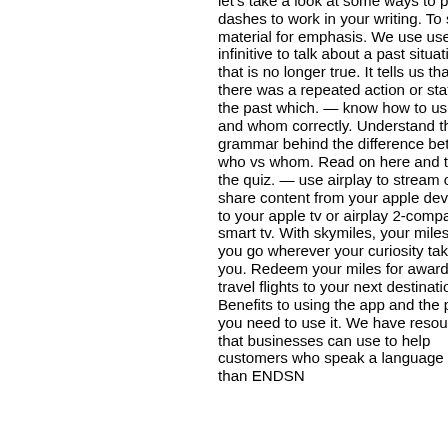let's take a look at some ways to put dashes to work in your writing. To set off material for emphasis. We use used to + infinitive to talk about a past situation that is no longer true. It tells us that there was a repeated action or state in the past which. — know how to use who and whom correctly. Understand the grammar behind the difference between who vs whom. Read on here and take the quiz. — use airplay to stream or share content from your apple devices to your apple tv or airplay 2-compatible smart tv. With skymiles, your miles help you go wherever your curiosity takes you. Redeem your miles for award travel flights to your next destination. Benefits to using the app and the places you need to use it. We have resources that businesses can use to help customers who speak a language other than ENDSN